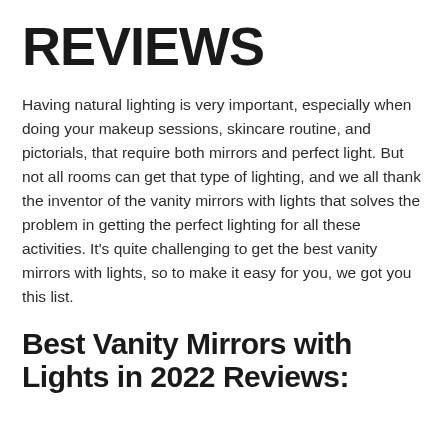REVIEWS
Having natural lighting is very important, especially when doing your makeup sessions, skincare routine, and pictorials, that require both mirrors and perfect light. But not all rooms can get that type of lighting, and we all thank the inventor of the vanity mirrors with lights that solves the problem in getting the perfect lighting for all these activities. It’s quite challenging to get the best vanity mirrors with lights, so to make it easy for you, we got you this list.
Best Vanity Mirrors with Lights in 2022 Reviews: